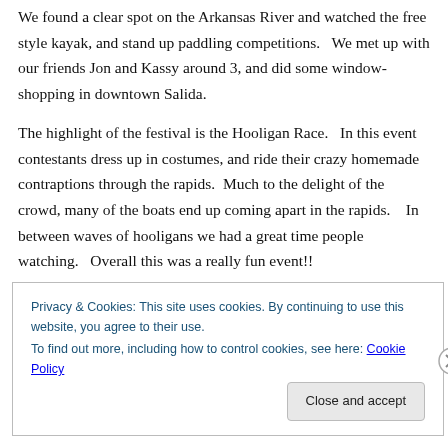We found a clear spot on the Arkansas River and watched the free style kayak, and stand up paddling competitions.   We met up with our friends Jon and Kassy around 3, and did some window-shopping in downtown Salida.
The highlight of the festival is the Hooligan Race.   In this event contestants dress up in costumes, and ride their crazy homemade contraptions through the rapids.  Much to the delight of the crowd, many of the boats end up coming apart in the rapids.    In between waves of hooligans we had a great time people watching.   Overall this was a really fun event!!
Privacy & Cookies: This site uses cookies. By continuing to use this website, you agree to their use.
To find out more, including how to control cookies, see here: Cookie Policy